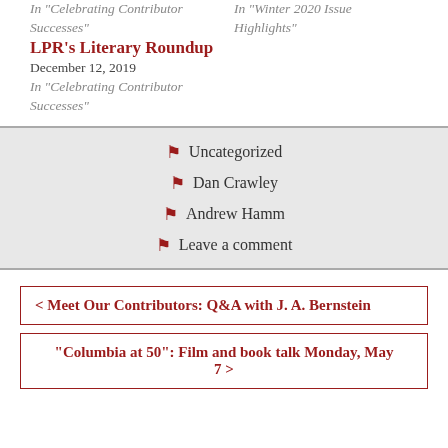In "Celebrating Contributor Successes"
In "Winter 2020 Issue Highlights"
LPR's Literary Roundup
December 12, 2019
In "Celebrating Contributor Successes"
Uncategorized
Dan Crawley
Andrew Hamm
Leave a comment
< Meet Our Contributors: Q&A with J. A. Bernstein
"Columbia at 50": Film and book talk Monday, May 7 >